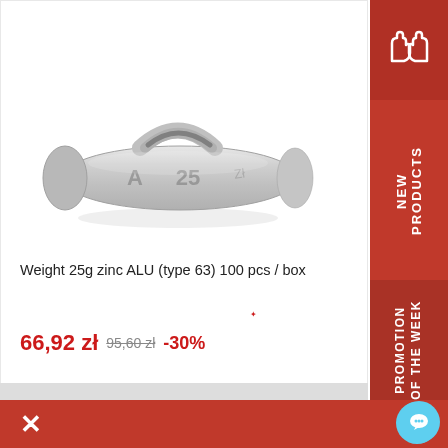[Figure (photo): A zinc ALU wheel balancing weight, type A 25, silver metallic color, elongated shape with clip on top]
Weight 25g zinc ALU (type 63) 100 pcs / box
66,92 zł  95,60 zł  -30%
ADD TO CART
NEW PRODUCTS
PROMOTION OF THE WEEK